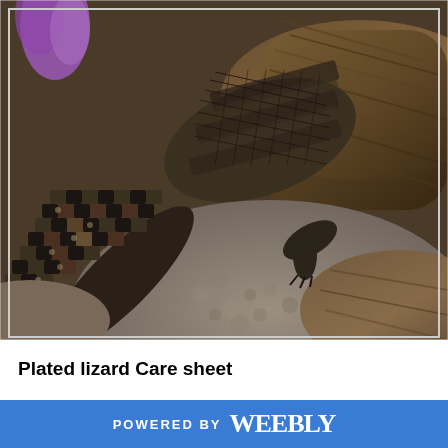[Figure (photo): Close-up photograph of a plated lizard resting on rocks and logs. The lizard's heavily scaled, textured body is visible in detail — showing rows of rectangular scales on its back and distinctive banded/checkered scales along its side/tail. A purple flower petal is partially visible at the top left. The background shows rough bark of logs and a large grey rock.]
Plated lizard Care sheet
POWERED BY weebly